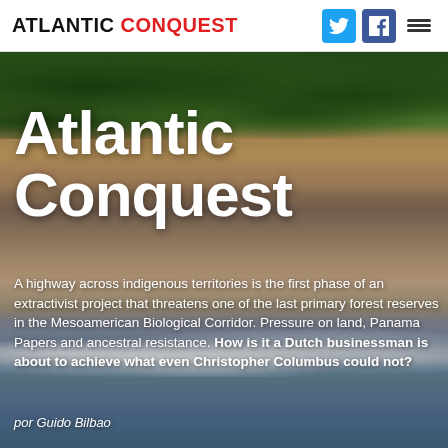ATLANTIC CONQUEST
[Figure (photo): Aerial view of a tropical coastline showing dense green forest/palm trees at the top, a sandy beach in the middle, and ocean waves with white foam at the bottom.]
Atlantic Conquest
A highway across indigenous territories is the first phase of an extractivist project that threatens one of the last primary forest reserves in the Mesoamerican Biological Corridor. Pressure on land, Panama Papers and ancestral resistance. How is it a Dutch businessman is about to achieve what even Christopher Columbus could not?
por Guido Bilbao